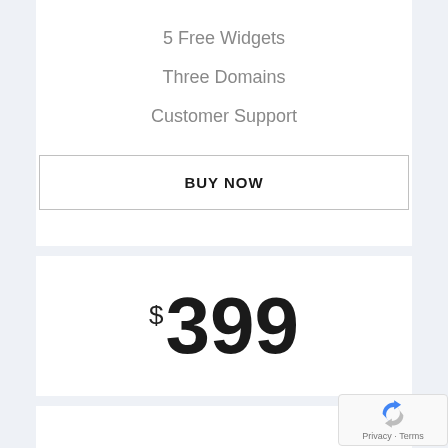5 Free Widgets
Three Domains
Customer Support
BUY NOW
$399
10 GB of Space
5 Free Widgets